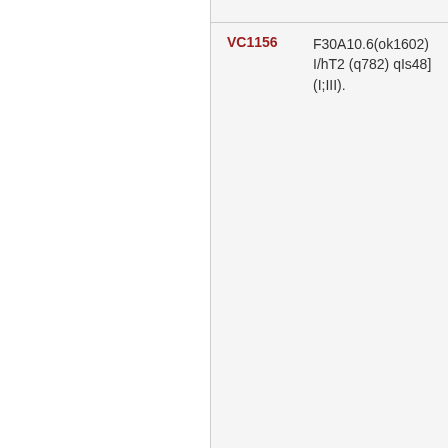| ID | Description |
| --- | --- |
| VC1156 | F30A10.6(ok1602) I/hT2 (q782) qIs48] (I;III). |